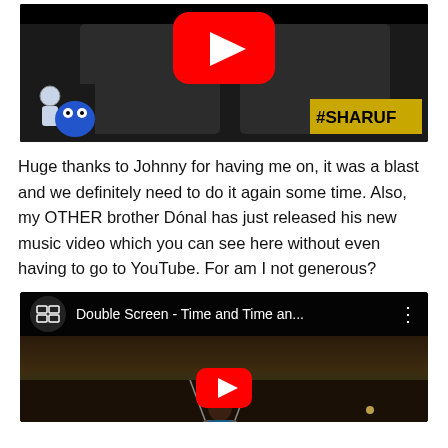[Figure (screenshot): YouTube video thumbnail showing two men in front of camera, cartoon character overlaid on left, #SHARUF text on yellow background bottom right, YouTube play button at top center]
Huge thanks to Johnny for having me on, it was a blast and we definitely need to do it again some time. Also, my OTHER brother Dónal has just released his new music video which you can see here without even having to go to YouTube. For am I not generous?
[Figure (screenshot): YouTube video embed showing 'Double Screen - Time and Time an...' with a child on a swing in a dark park scene, YouTube play button overlay]